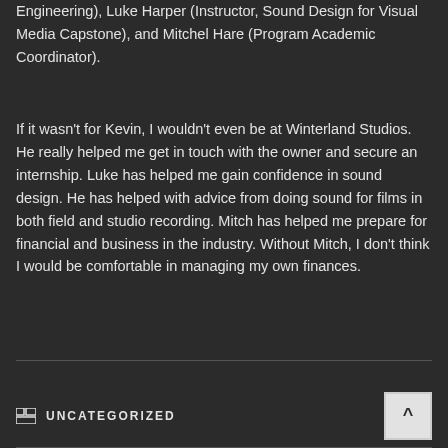Engineering), Luke Harper (Instructor, Sound Design for Visual Media Capstone), and Mitchel Hare (Program Academic Coordinator).
If it wasn't for Kevin, I wouldn't even be at Winterland Studios. He really helped me get in touch with the owner and secure an internship. Luke has helped me gain confidence in sound design. He has helped with advice from doing sound for films in both field and studio recording. Mitch has helped me prepare for financial and business in the industry. Without Mitch, I don't think I would be comfortable in managing my own finances.
UNCATEGORIZED